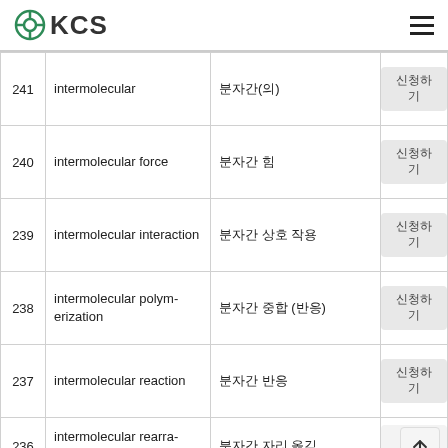KCS
| # | English | Korean | Action |
| --- | --- | --- | --- |
| 241 | intermolecular | 분자간(의) | 신청하기 |
| 240 | intermolecular force | 분자간 힘 | 신청하기 |
| 239 | intermolecular interaction | 분자간 상호 작용 | 신청하기 |
| 238 | intermolecular polymerization | 분자간 중합 (반응) | 신청하기 |
| 237 | intermolecular reaction | 분자간 반응 | 신청하기 |
| 236 | intermolecular rearrangement | 분자간 자리 옮김 | 신청하기 |